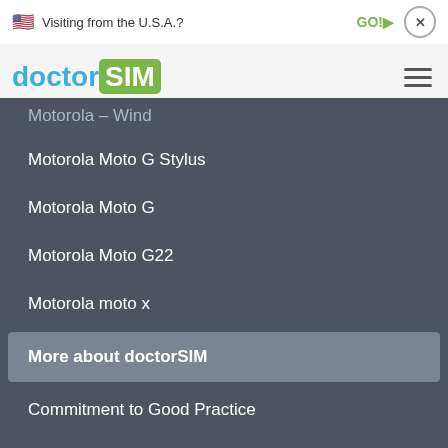Visiting from the U.S.A.?  GO!▶  ×
[Figure (logo): doctorSIM logo with blue 'doctor' text and green 'SIM' badge, plus hamburger menu icon]
Motorola – Wind
Motorola Moto G Stylus
Motorola Moto G
Motorola Moto G22
Motorola moto x
More about doctorSIM
Commitment to Good Practice
Security and Protection
Payment Methods